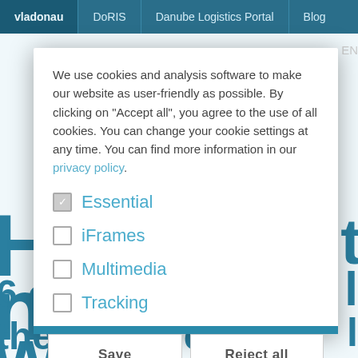vladonau | DoRIS | Danube Logistics Portal | Blog
We use cookies and analysis software to make our website as user-friendly as possible. By clicking on "Accept all", you agree to the use of all cookies. You can change your cookie settings at any time. You can find more information in our privacy policy.
Essential (checked)
iFrames
Multimedia
Tracking
Save | Reject all
6 countries along the Danube in